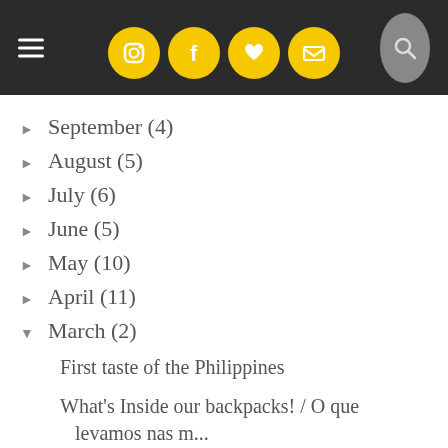Navigation bar with social icons
September (4)
August (5)
July (6)
June (5)
May (10)
April (11)
March (2)
First taste of the Philippines
What's Inside our backpacks! / O que levamos nas m...
February (2)